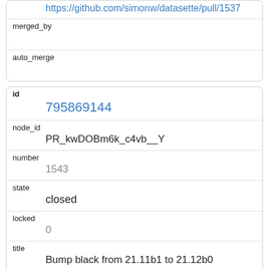| https://github.com/simonw/datasette/pull/1537 |
| merged_by |  |
| auto_merge |  |
| id | 795869144 |
| node_id | PR_kwDOBm6k_c4vb__Y |
| number | 1543 |
| state | closed |
| locked | 0 |
| title | Bump black from 21.11b1 to 21.12b0 |
| user | dependabot[bot]  49699333 |